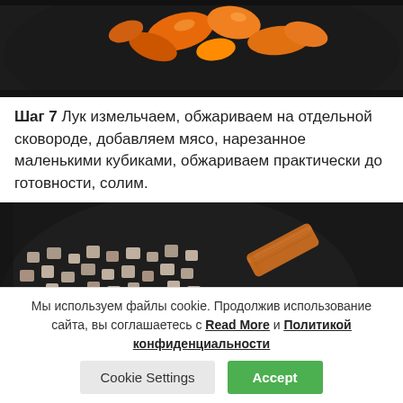[Figure (photo): Top portion of a frying pan with orange/red bell pepper pieces being cooked, dark pan background]
Шаг 7 Лук измельчаем, обжариваем на отдельной сковороде, добавляем мясо, нарезанное маленькими кубиками, обжариваем практически до готовности, солим.
[Figure (photo): Frying pan with small cubes of browned meat and a wooden spatula, dark pan background]
Мы используем файлы cookie. Продолжив использование сайта, вы соглашаетесь с Read More и Политикой конфиденциальности